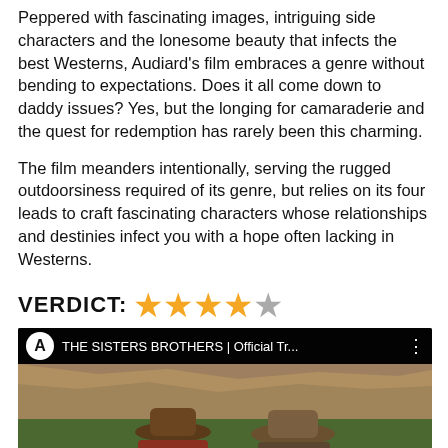Peppered with fascinating images, intriguing side characters and the lonesome beauty that infects the best Westerns, Audiard's film embraces a genre without bending to expectations. Does it all come down to daddy issues? Yes, but the longing for camaraderie and the quest for redemption has rarely been this charming.

The film meanders intentionally, serving the rugged outdoorsiness required of its genre, but relies on its four leads to craft fascinating characters whose relationships and destinies infect you with a hope often lacking in Westerns.
VERDICT: ★★★★☆ (4 out of 5 stars)
[Figure (screenshot): YouTube video thumbnail for 'THE SISTERS BROTHERS | Official Tr...' showing two cowboys in wide-brimmed hats against a rocky hillside backdrop. The video has a dark top bar with a white circular 'A' avatar icon, the video title, and a three-dot menu icon.]